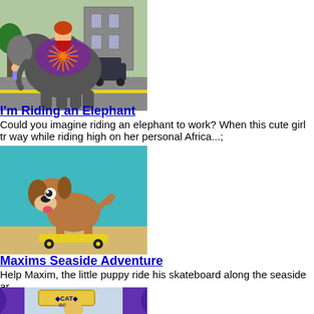[Figure (illustration): Cartoon illustration of a girl in a red dress riding a large elephant on a suburban street with a car and buildings in the background]
I'm Riding an Elephant
Could you imagine riding an elephant to work? When this cute girl tr way while riding high on her personal Africa...;
[Figure (illustration): Cartoon illustration of a small brown puppy riding a yellow skateboard on a sandy seaside background]
Maxims Seaside Adventure
Help Maxim, the little puppy ride his skateboard along the seaside ar
[Figure (illustration): Cartoon illustration showing a cat room scene with a golden cat and purple curtains, with a sign reading CAT ROOM]